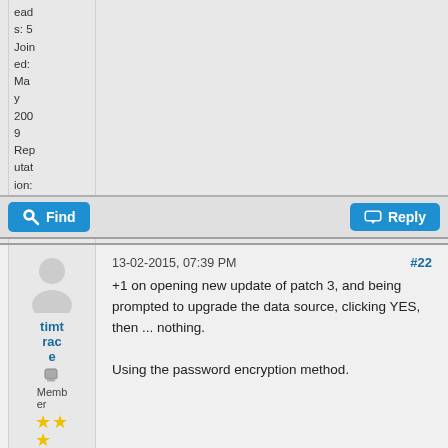eads: 5
Joined: May 2009
Reputation: 0
Find
Reply
13-02-2015, 07:39 PM
#22
timtrace
Member
+1 on opening new update of patch 3, and being prompted to upgrade the data source, clicking YES, then ... nothing.

Using the password encryption method.